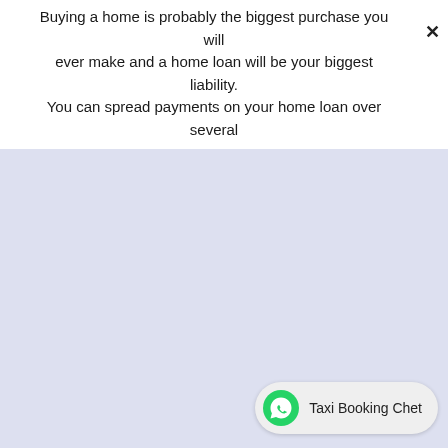Buying a home is probably the biggest purchase you will ever make and a home loan will be your biggest liability. You can spread payments on your home loan over several
[Figure (screenshot): Light periwinkle/lavender colored blank content area, representing a partially loaded or empty web page section.]
Taxi Booking Chet